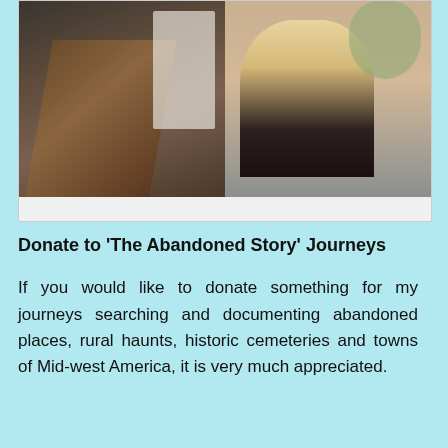[Figure (photo): Two side-by-side photos: left shows a dark wooden staircase interior with what appears to be a ghostly white fabric/dress draped on the railing; right shows a woman in a light floral dress holding flowers, seated, wearing black shoes, against a gray/mauve backdrop.]
Donate to 'The Abandoned Story' Journeys
If you would like to donate something for my journeys searching and documenting abandoned places, rural haunts, historic cemeteries and towns of Mid-west America, it is very much appreciated.